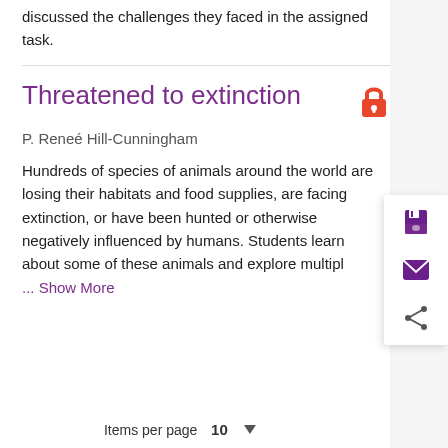discussed the challenges they faced in the assigned task.
Threatened to extinction
P. Reneé Hill-Cunningham
Hundreds of species of animals around the world are losing their habitats and food supplies, are facing extinction, or have been hunted or otherwise negatively influenced by humans. Students learn about some of these animals and explore multipl
... Show More
Items per page 10